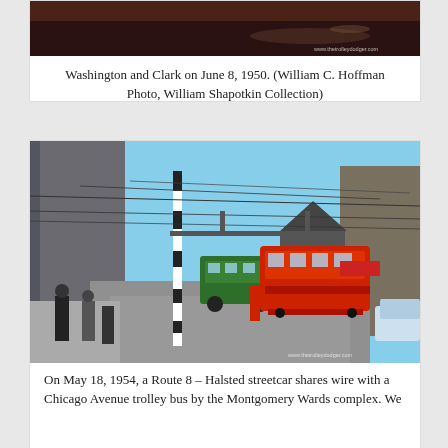[Figure (photo): Partial top view of a historic street scene at Washington and Clark, June 8, 1950. Dark toned photograph showing street surface. Watermark: www.thetrolleydodger.com]
Washington and Clark on June 8, 1950. (William C. Hoffman Photo, William Shapotkin Collection)
[Figure (photo): Color photograph from May 18, 1954 showing a Route 8 – Halsted streetcar (red) sharing wire with a Chicago Avenue trolley bus (green) near the Montgomery Wards complex. Overhead wires, striped pole, pedestrians on sidewalk, buildings on both sides. Watermark: www.thetrolleydodger.com]
On May 18, 1954, a Route 8 – Halsted streetcar shares wire with a Chicago Avenue trolley bus by the Montgomery Wards complex. We